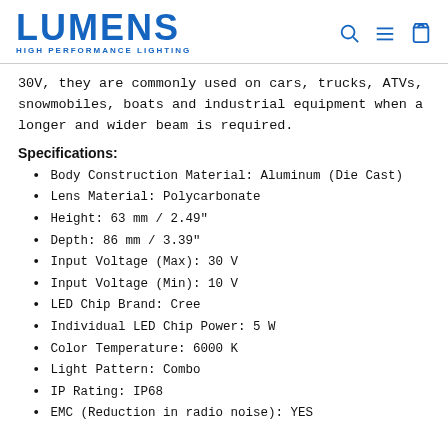LUMENS HIGH PERFORMANCE LIGHTING
30V, they are commonly used on cars, trucks, ATVs, snowmobiles, boats and industrial equipment when a longer and wider beam is required.
Specifications:
Body Construction Material: Aluminum (Die Cast)
Lens Material: Polycarbonate
Height: 63 mm / 2.49"
Depth: 86 mm / 3.39"
Input Voltage (Max): 30 V
Input Voltage (Min): 10 V
LED Chip Brand: Cree
Individual LED Chip Power: 5 W
Color Temperature: 6000 K
Light Pattern: Combo
IP Rating: IP68
EMC (Reduction in radio noise): YES